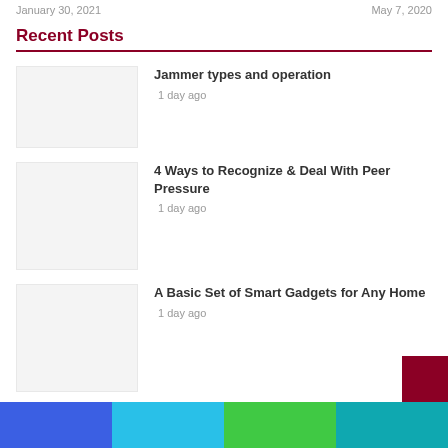January 30, 2021    May 7, 2020
Recent Posts
Jammer types and operation
1 day ago
4 Ways to Recognize & Deal With Peer Pressure
1 day ago
A Basic Set of Smart Gadgets for Any Home
1 day ago
We Can't Wait to Manage this Team in the Upcoming FIFA 23 S...